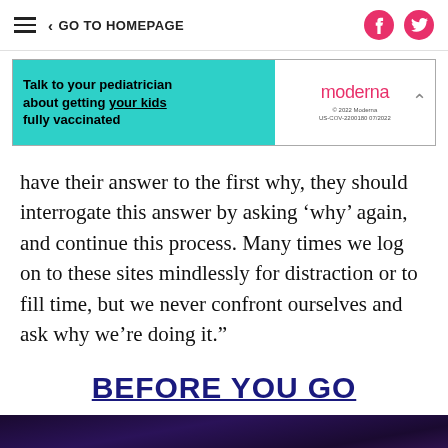GO TO HOMEPAGE
[Figure (other): Moderna advertisement banner: 'Talk to your pediatrician about getting your kids fully vaccinated' with Moderna logo and legal text]
have their answer to the first why, they should interrogate this answer by asking ‘why’ again, and continue this process. Many times we log on to these sites mindlessly for distraction or to fill time, but we never confront ourselves and ask why we’re doing it.”
BEFORE YOU GO
[Figure (photo): Dark purple/indigo background image with abstract crowd or figure silhouettes in muted purple tones]